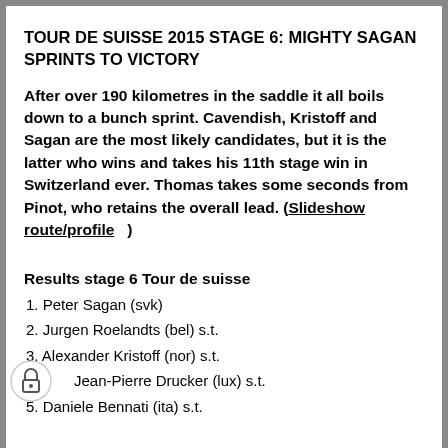TOUR DE SUISSE 2015 STAGE 6: MIGHTY SAGAN SPRINTS TO VICTORY
After over 190 kilometres in the saddle it all boils down to a bunch sprint. Cavendish, Kristoff and Sagan are the most likely candidates, but it is the latter who wins and takes his 11th stage win in Switzerland ever. Thomas takes some seconds from Pinot, who retains the overall lead. (Slideshow route/profile )
Results stage 6 Tour de suisse
1. Peter Sagan (svk)
2. Jurgen Roelandts (bel) s.t.
3. Alexander Kristoff (nor) s.t.
4. Jean-Pierre Drucker (lux) s.t.
5. Daniele Bennati (ita) s.t.